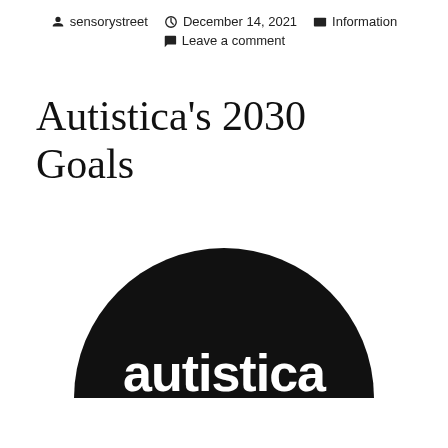sensorystreet  December 14, 2021  Information  Leave a comment
Autistica's 2030 Goals
[Figure (logo): Autistica logo: black semicircle with white bold lowercase text 'autistica' inside the lower half]